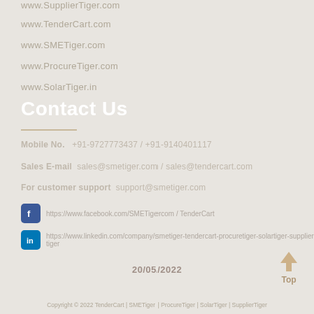www.SupplierTiger.com
www.TenderCart.com
www.SMETiger.com
www.ProcureTiger.com
www.SolarTiger.in
Contact Us
Mobile No.   +91-9727773437 / +91-9140401117
Sales E-mail  sales@smetiger.com / sales@tendercart.com
For customer support  support@smetiger.com
Facebook link
LinkedIn link
20/05/2022
Copyright © 2022 TenderCart | SMETiger | ProcureTiger | SolarTiger | SupplierTiger